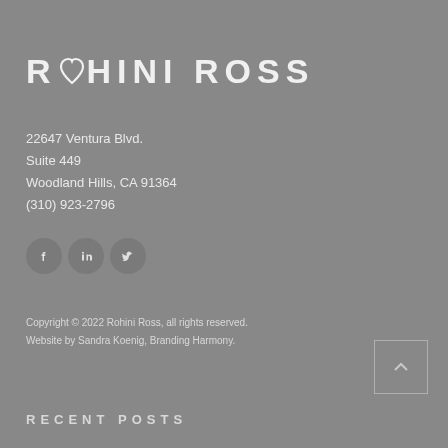[Figure (logo): Rohini Ross logo with heart symbol replacing the O in ROHINI]
22647 Ventura Blvd.
Suite 449
Woodland Hills, CA 91364
(310) 923-2796
[Figure (infographic): Social media icons: Facebook, LinkedIn, Twitter]
Copyright © 2022 Rohini Ross, all rights reserved.
Website by Sandra Koenig, Branding Harmony.
RECENT POSTS